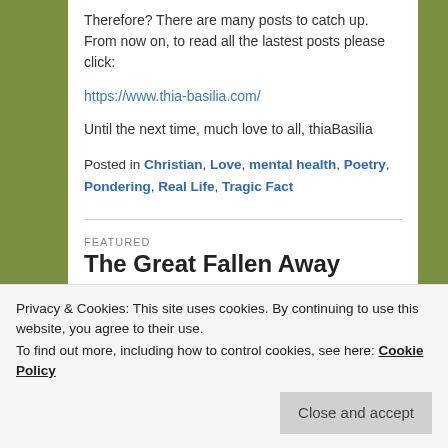Therefore? There are many posts to catch up. From now on, to read all the lastest posts please click:
https://www.thia-basilia.com/
Until the next time, much love to all, thiaBasilia
Posted in Christian, Love, mental health, Poetry, Pondering, Real Life, Tragic Fact
FEATURED
The Great Fallen Away
Privacy & Cookies: This site uses cookies. By continuing to use this website, you agree to their use.
To find out more, including how to control cookies, see here: Cookie Policy
Close and accept
IMPORTANT!